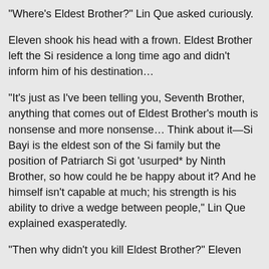“Where’s Eldest Brother?” Lin Que asked curiously.
Eleven shook his head with a frown. Eldest Brother left the Si residence a long time ago and didn’t inform him of his destination…
“It’s just as I’ve been telling you, Seventh Brother, anything that comes out of Eldest Brother’s mouth is nonsense and more nonsense… Think about it—Si Bayi is the eldest son of the Si family but the position of Patriarch Si got ‘usurped* by Ninth Brother, so how could he be happy about it? And he himself isn’t capable at much; his strength is his ability to drive a wedge between people,” Lin Que explained exasperatedly.
“Then why didn’t you kill Eldest Brother?” Eleven